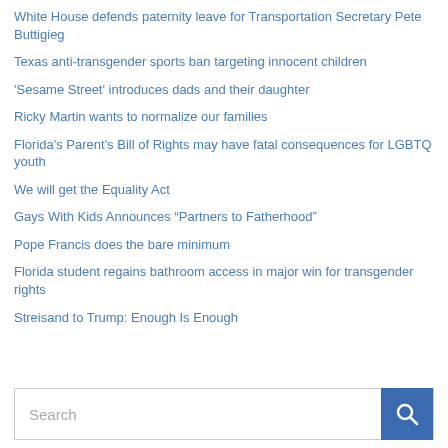White House defends paternity leave for Transportation Secretary Pete Buttigieg
Texas anti-transgender sports ban targeting innocent children
‘Sesame Street’ introduces dads and their daughter
Ricky Martin wants to normalize our families
Florida’s Parent’s Bill of Rights may have fatal consequences for LGBTQ youth
We will get the Equality Act
Gays With Kids Announces “Partners to Fatherhood”
Pope Francis does the bare minimum
Florida student regains bathroom access in major win for transgender rights
Streisand to Trump: Enough Is Enough